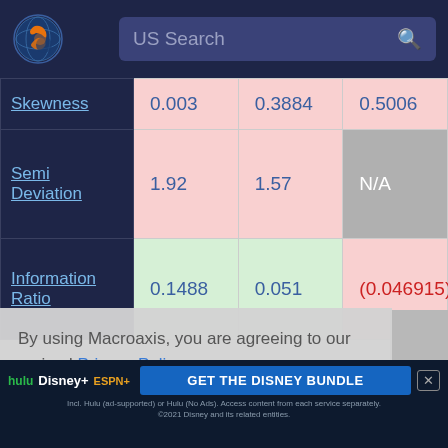US Search — Macroaxis header
| Metric | Value 1 | Value 2 | Value 3 |
| --- | --- | --- | --- |
| Skewness | 0.003 | 0.3884 | 0.5006 |
| Semi Deviation | 1.92 | 1.57 | N/A |
| Information Ratio | 0.1488 | 0.051 | (0.046915) |
By using Macroaxis, you are agreeing to our revised Privacy Policy
[Figure (screenshot): Disney Bundle advertisement banner: hulu, Disney+, ESPN+, GET THE DISNEY BUNDLE. Incl. Hulu (ad-supported) or Hulu (No Ads). Access content from each service separately. ©2021 Disney and its related entities.]